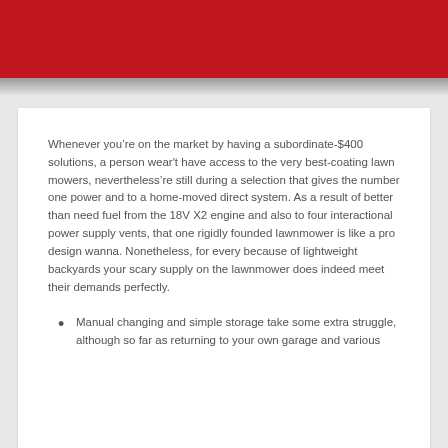Whenever you’re on the market by having a subordinate-$400 solutions, a person wear't have access to the very best-coating lawn mowers, nevertheless’re still during a selection that gives the number one power and to a home-moved direct system. As a result of better than need fuel from the 18V X2 engine and also to four interactional power supply vents, that one rigidly founded lawnmower is like a pro design wanna. Nonetheless, for every because of lightweight backyards your scary supply on the lawnmower does indeed meet their demands perfectly.
Manual changing and simple storage take some extra struggle, although so far as returning to your own garage and various